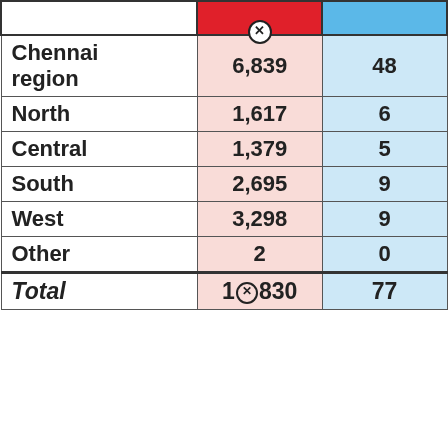|  | ⊗ (red col) | ⊗ (blue col) |
| --- | --- | --- |
| Chennai region | 6,839 | 48 |
| North | 1,617 | 6 |
| Central | 1,379 | 5 |
| South | 2,695 | 9 |
| West | 3,298 | 9 |
| Other | 2 | 0 |
| Total | 1⊗830 | 77 |